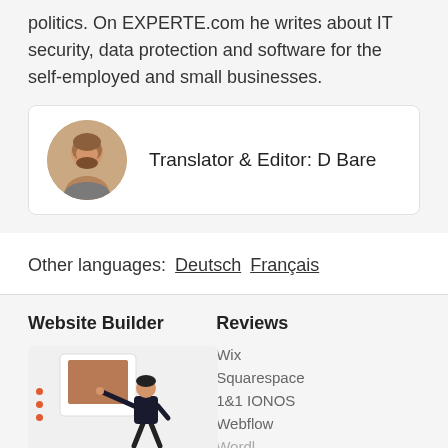politics. On EXPERTE.com he writes about IT security, data protection and software for the self-employed and small businesses.
Translator & Editor: D Bare
Other languages: Deutsch Français
Website Builder
Reviews
Wix
Squarespace
1&1 IONOS
Webflow
[Figure (illustration): Website builder illustration showing a person placing content on a webpage mockup with navigation dots on the left side]